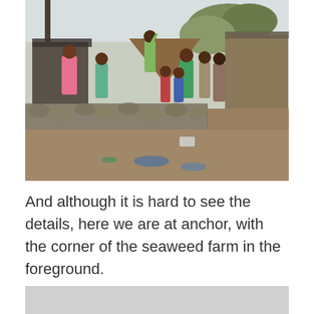[Figure (photo): A group of people, including children and adults, standing near wooden shacks and a stone wall in what appears to be a coastal village. There is debris and litter on the ground in the foreground.]
And although it is hard to see the details, here we are at anchor, with the corner of the seaweed farm in the foreground.
[Figure (photo): Partially visible second photo, showing only the top portion — appears to be a landscape or seascape with a light gray-blue sky/water tone.]